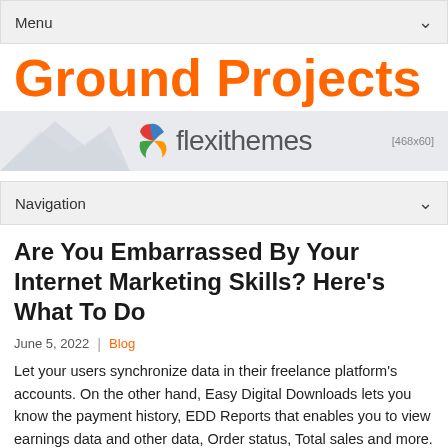Menu
Ground Projects
[Figure (logo): Flexithemes banner logo with colorful leaf icon and mountain silhouette background, size indicator [468x60]]
Navigation
Are You Embarrassed By Your Internet Marketing Skills? Here’s What To Do
June 5, 2022 | Blog
Let your users synchronize data in their freelance platform’s accounts. On the other hand, Easy Digital Downloads lets you know the payment history, EDD Reports that enables you to view earnings data and other data, Order status, Total sales and more. For example, if someone downloads a guide about SEO, you can follow up with additional more and helpful information to help them become a regular customer.